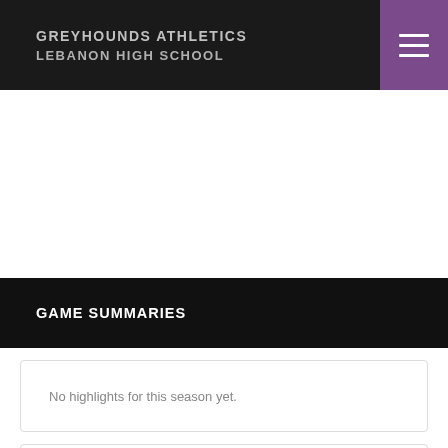GREYHOUNDS ATHLETICS LEBANON HIGH SCHOOL
GAME SUMMARIES
No highlights for this season yet.
[Figure (logo): Lebanon High School Greyhounds Athletics logo with red emblem and LEBANON text]